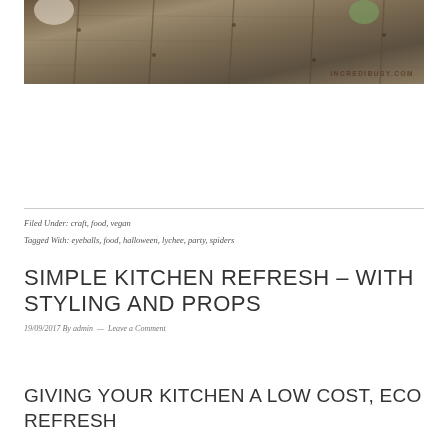[Figure (photo): Overhead photo of wooden surface with some items, watermark reading INCREDIBUSY.COM in bottom right corner]
Filed Under: craft, food, vegan
Tagged With: eyeballs, food, halloween, lychee, party, spiders
SIMPLE KITCHEN REFRESH – WITH STYLING AND PROPS
19/09/2017 By admin — Leave a Comment
GIVING YOUR KITCHEN A LOW COST, ECO REFRESH